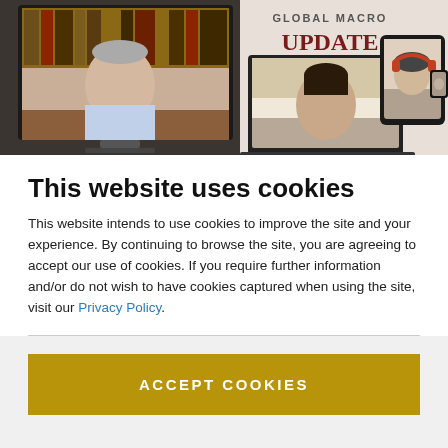[Figure (screenshot): Video call screenshot showing a man speaking on a large desktop monitor on the left (sitting at a desk with bookshelves behind), and on the right side a laptop and tablet showing additional video participants — a woman and a man with headphones. Text overlay reads 'GLOBAL MACRO UPDATE' in the upper right area.]
This website uses cookies
This website intends to use cookies to improve the site and your experience. By continuing to browse the site, you are agreeing to accept our use of cookies. If you require further information and/or do not wish to have cookies captured when using the site, visit our Privacy Policy.
ACCEPT COOKIES